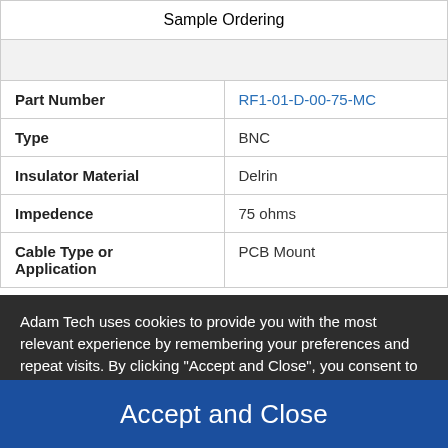| Sample Ordering |  |
| --- | --- |
|  |  |
| Part Number | RF1-01-D-00-75-MC |
| Type | BNC |
| Insulator Material | Delrin |
| Impedence | 75 ohms |
| Cable Type or Application | PCB Mount |
Adam Tech uses cookies to provide you with the most relevant experience by remembering your preferences and repeat visits. By clicking "Accept and Close", you consent to the terms in our Terms and Conditions.
Accept and Close